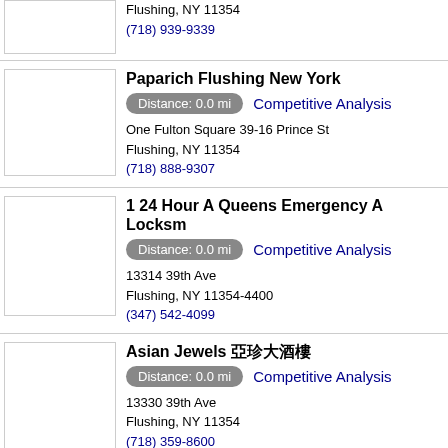Flushing, NY 11354
(718) 939-9339
Paparich Flushing New York
Distance: 0.0 mi  Competitive Analysis
One Fulton Square 39-16 Prince St
Flushing, NY 11354
(718) 888-9307
1 24 Hour A Queens Emergency A Locksm
Distance: 0.0 mi  Competitive Analysis
13314 39th Ave
Flushing, NY 11354-4400
(347) 542-4099
Asian Jewels 亞珍大酒樓
Distance: 0.0 mi  Competitive Analysis
13330 39th Ave
Flushing, NY 11354
(718) 359-8600